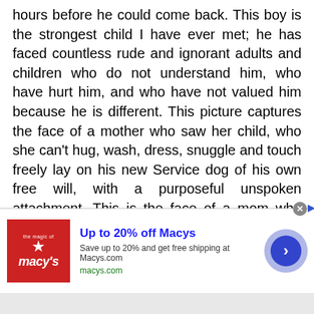hours before he could come back. This boy is the strongest child I have ever met; he has faced countless rude and ignorant adults and children who do not understand him, who have hurt him, and who have not valued him because he is different. This picture captures the face of a mother who saw her child, who she can't hug, wash, dress, snuggle and touch freely lay on his new Service dog of his own free will, with a purposeful unspoken attachment. This is the face of a mom who has seen her son experience countless failed social interactions on the playground in an attempt to have a friend. Any friend. Any kind of connection. She has sat with her son while he has cried at night for months because he has no consistent connections outside of the
[Figure (screenshot): Macy's advertisement banner: Up to 20% off Macys. Save up to 20% and get free shipping at Macys.com. macys.com. Red Macy's logo with star on left, blue arrow button on right.]